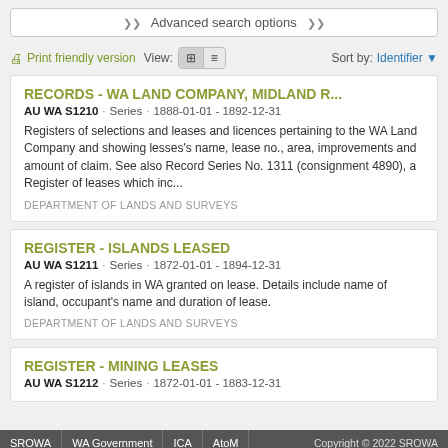Advanced search options
Print friendly version  View:  Sort by: Identifier
RECORDS - WA LAND COMPANY, MIDLAND R...
AU WA S1210 · Series · 1888-01-01 - 1892-12-31
Registers of selections and leases and licences pertaining to the WA Land Company and showing lesses's name, lease no., area, improvements and amount of claim. See also Record Series No. 1311 (consignment 4890), a Register of leases which inc...
DEPARTMENT OF LANDS AND SURVEYS
REGISTER - ISLANDS LEASED
AU WA S1211 · Series · 1872-01-01 - 1894-12-31
A register of islands in WA granted on lease. Details include name of island, occupant's name and duration of lease.
DEPARTMENT OF LANDS AND SURVEYS
REGISTER - MINING LEASES
AU WA S1212 · Series · 1872-01-01 - 1883-12-31
SROWA  WA Government  ICA  AtoM  Copyright © 2022 SROWA